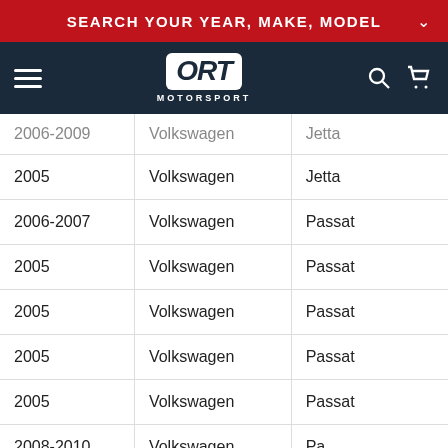SEARCH YOUR YEAR, MAKE, MODEL
[Figure (logo): ORT Motorsport logo on dark navy navigation bar with hamburger menu, search icon, and cart icon]
| Year | Make | Model |
| --- | --- | --- |
| 2006-2009 | Volkswagen | Jetta |
| 2005 | Volkswagen | Jetta |
| 2006-2007 | Volkswagen | Passat |
| 2005 | Volkswagen | Passat |
| 2005 | Volkswagen | Passat |
| 2005 | Volkswagen | Passat |
| 2005 | Volkswagen | Passat |
| 2008-2010 | Volkswagen | Pa… |
| 2008 | Volkswagen | Passat |
Chat with us